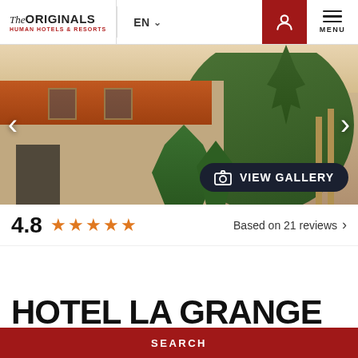The ORIGINALS HUMAN HOTELS & RESORTS | EN | MENU
[Figure (photo): Exterior photo of Hotel La Grange — a stone building with terracotta roof tiles, surrounded by lush green trees and shrubs, photographed at dusk. A 'VIEW GALLERY' button overlaid at bottom right. Navigation arrows on left and right sides.]
4.8 ★★★★★ Based on 21 reviews
HOTEL LA GRANGE
SEARCH